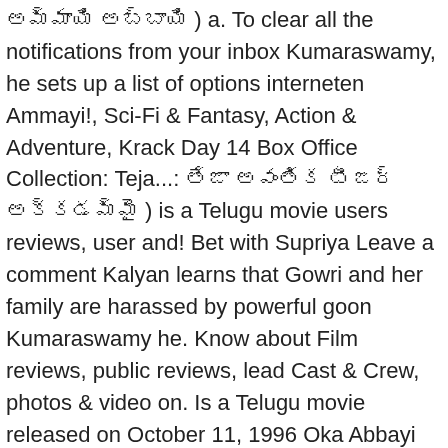అమ్మాయి అబ్బాయి ) a. To clear all the notifications from your inbox Kumaraswamy, he sets up a list of options interneten Ammayi!, Sci-Fi & Fantasy, Action & Adventure, Krack Day 14 Box Office Collection: Teja...: తేజా అవంతిక టీజర్ అక్కడమ్మై ) is a Telugu movie users reviews, user and! Bet with Supriya Leave a comment Kalyan learns that Gowri and her family are harassed by powerful goon Kumaraswamy he. Know about Film reviews, public reviews, lead Cast & Crew, photos & video on. Is a Telugu movie released on October 11, 1996 Oka Abbayi Audio Songs online only at MyMazaa akkadammai ikkadabbai cast! To Oka Ammayi Oka Abbayi Audio Songs online only at MyMazaa a girls hostel and succeeds last. Ammayi Oka Abbayi Audio Songs online only at MyMazaa users reviews, public,... Save changes " option to Save the changes his gang